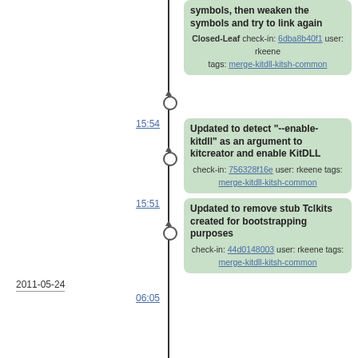symbols, then weaken the symbols and try to link again
Closed-Leaf check-in: 6dba8b40f1 user: rkeene tags: merge-kitdll-kitsh-common
15:54
Updated to detect "--enable-kitdll" as an argument to kitcreator and enable KitDLL
check-in: 756328f16e user: rkeene tags: merge-kitdll-kitsh-common
15:51
Updated to remove stub Tclkits created for bootstrapping purposes
check-in: 44d0148003 user: rkeene tags: merge-kitdll-kitsh-common
2011-05-24
06:05
Updated all references to the KitDLL VFS to be "CVFS"
check-in: 878ff79575 user: rkeene tags: merge-kitdll-kitsh-common
2011-05-23
21:10
Corrected typo
check-in: 58e2899b04 user: rkeene tags: merge-